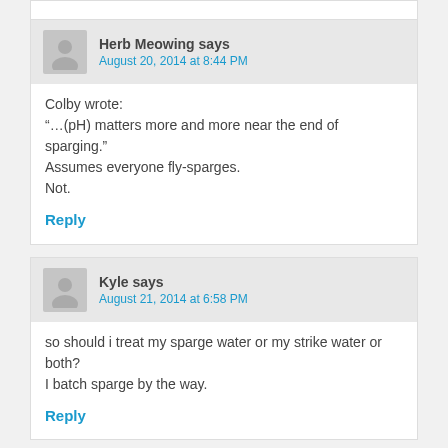Herb Meowing says
August 20, 2014 at 8:44 PM
Colby wrote:
“…(pH) matters more and more near the end of sparging.”
Assumes everyone fly-sparges.
Not.
Reply
Kyle says
August 21, 2014 at 6:58 PM
so should i treat my sparge water or my strike water or both?
I batch sparge by the way.
Reply
Herb Meowing says